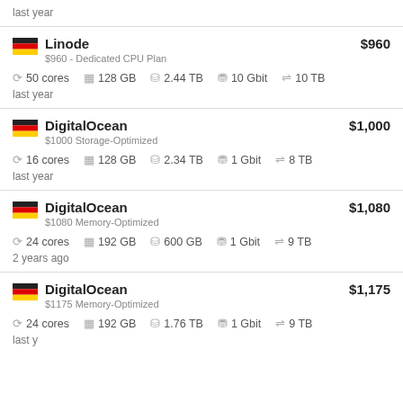last year
Linode / $960 - Dedicated CPU Plan / $960 / 50 cores / 128 GB / 2.44 TB / 10 Gbit / 10 TB / last year
DigitalOcean / $1000 Storage-Optimized / $1,000 / 16 cores / 128 GB / 2.34 TB / 1 Gbit / 8 TB / last year
DigitalOcean / $1080 Memory-Optimized / $1,080 / 24 cores / 192 GB / 600 GB / 1 Gbit / 9 TB / 2 years ago
DigitalOcean / $1175 Memory-Optimized / $1,175 / 24 cores / 192 GB / 1.76 TB / 1 Gbit / 9 TB / last year